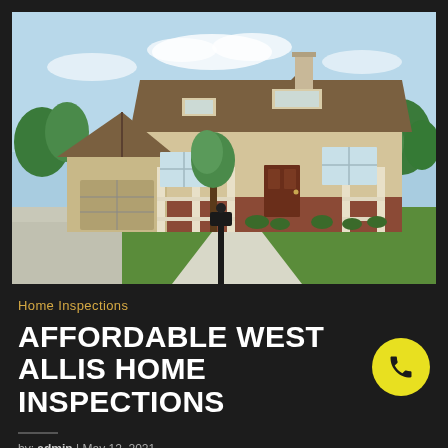[Figure (photo): Exterior photo of a large two-story suburban house with attached garage, covered front porch, brick accents, dormers, and green lawn with a black mailbox post in the foreground]
Home Inspections
AFFORDABLE WEST ALLIS HOME INSPECTIONS
by: admin  |  May 12, 2021